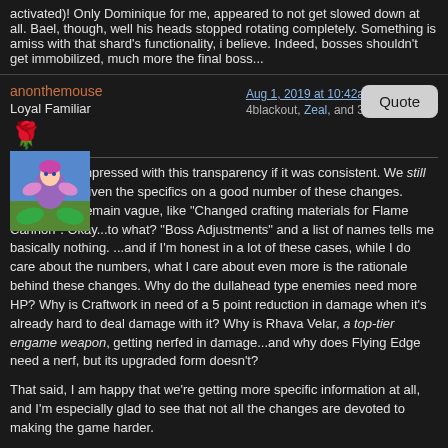activated)! Only Dominique for me, appeared to not get slowed down at all. Bael, though, well his heads stopped rotating completely. Something is amiss with that shard's functionality, i believe. Indeed, bosses shouldn't get immobilized, much more the final boss...
anonthemouse
Loyal Familiar
Aug 1, 2019 at 10:42am
4blackout, Zeal, and 3 more like this
I'd be more impressed with this transparency if it was consistent. We still aren't being given the specifics on a good number of these changes. Many notes remain vague, like "Changed crafting materials for Flame Cannon". Okay...to what? "Boss Adjustments" and a list of names tells me basically nothing. ...and if I'm honest in a lot of these cases, while I do care about the numbers, what I care about even more is the rationale behind these changes. Why do the dullahead type enemies need more HP? Why is Craftwork in need of a 5 point reduction in damage when it's already hard to deal damage with it? Why is Rhava Velar, a top-tier engame weapon, getting nerfed in damage...and why does Flying Edge need a nerf, but its upgraded form doesn't?
That said, I am happy that we're getting more specific information at all, and I'm especially glad to see that not all the changes are devoted to making the game harder.
ragnarok